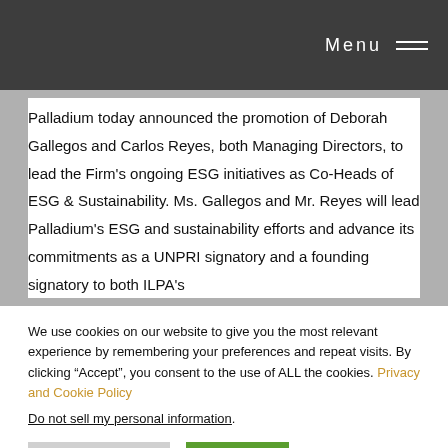Menu
Palladium today announced the promotion of Deborah Gallegos and Carlos Reyes, both Managing Directors, to lead the Firm's ongoing ESG initiatives as Co-Heads of ESG & Sustainability. Ms. Gallegos and Mr. Reyes will lead Palladium's ESG and sustainability efforts and advance its commitments as a UNPRI signatory and a founding signatory to both ILPA's
We use cookies on our website to give you the most relevant experience by remembering your preferences and repeat visits. By clicking “Accept”, you consent to the use of ALL the cookies. Privacy and Cookie Policy
Do not sell my personal information.